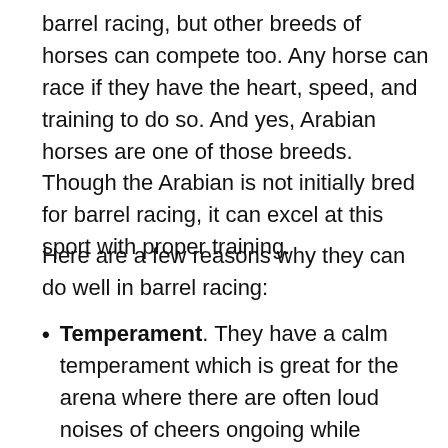barrel racing, but other breeds of horses can compete too. Any horse can race if they have the heart, speed, and training to do so. And yes, Arabian horses are one of those breeds. Though the Arabian is not initially bred for barrel racing, it can excel at this sport with proper training.
Here are a few reasons why they can do well in barrel racing:
Temperament. They have a calm temperament which is great for the arena where there are often loud noises of cheers ongoing while competing. Their kind, calm temperament also makes them ideal horses for children and beginner barrel racers.
Intelligence. Arabian horses are highly intelligent